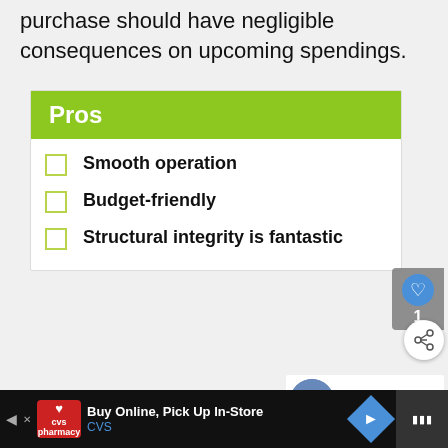purchase should have negligible consequences on upcoming spendings.
Pros
Smooth operation
Budget-friendly
Structural integrity is fantastic
Buy Online, Pick Up In-Store CVS